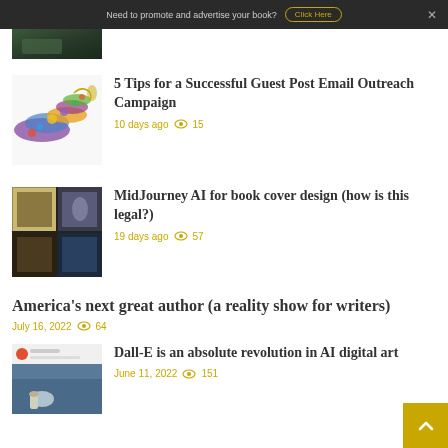Need to promote and advertise your book? Click Here ×
[Figure (photo): Partial image of a dark outdoor scene, cropped at top]
5 Tips for a Successful Guest Post Email Outreach Campaign
10 days ago 👁 15
[Figure (photo): 2x2 grid collage of dark fantasy/sci-fi images: golden architecture, winged female figure, figure on steps, dark teal structure]
MidJourney AI for book cover design (how is this legal?)
19 days ago 👁 57
America's next great author (a reality show for writers)
July 16, 2022 👁 64
[Figure (screenshot): Social media post screenshot showing a coastal scene with a robot/figure, partially cropped]
Dall-E is an absolute revolution in AI digital art
June 11, 2022 👁 151